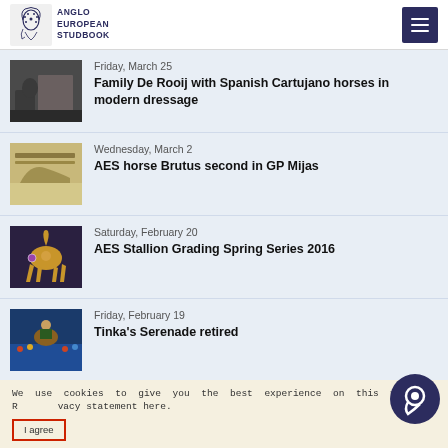ANGLO EUROPEAN STUDBOOK
Friday, March 25
Family De Rooij with Spanish Cartujano horses in modern dressage
Wednesday, March 2
AES horse Brutus second in GP Mijas
Saturday, February 20
AES Stallion Grading Spring Series 2016
Friday, February 19
Tinka's Serenade retired
We use cookies to give you the best experience on this website. R... vacy statement here.
I agree